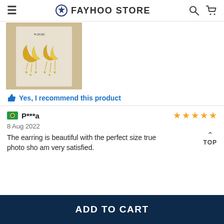FAYHOO STORE
[Figure (photo): Photo of gold moon-shaped earrings with dangling star charms on a product card with 'ciroki' branding]
Yes, I recommend this product
P***a   8 Aug 2022   5 stars
The earring is beautiful with the perfect size true photo sho am very satisfied.
ADD TO CART